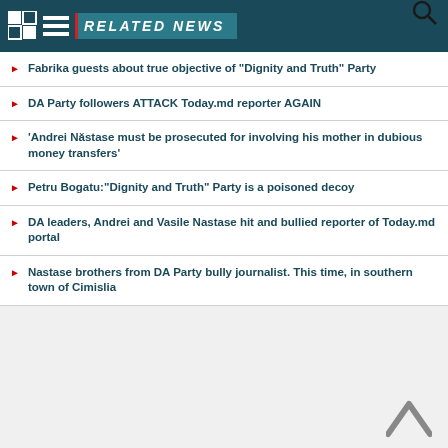RELATED NEWS
Fabrika guests about true objective of "Dignity and Truth" Party
DA Party followers ATTACK Today.md reporter AGAIN
'Andrei Năstase must be prosecuted for involving his mother in dubious money transfers'
Petru Bogatu:'Dignity and Truth' Party is a poisoned decoy
DA leaders, Andrei and Vasile Nastase hit and bullied reporter of Today.md portal
Nastase brothers from DA Party bully journalist. This time, in southern town of Cimislia